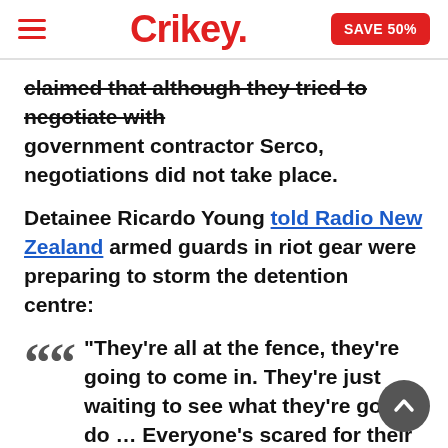Crikey. SAVE 50%
claimed that although they tried to negotiate with government contractor Serco, negotiations did not take place.
Detainee Ricardo Young told Radio New Zealand armed guards in riot gear were preparing to storm the detention centre:
“They’re all at the fence, they’re going to come in. They’re just waiting to see what they’re going do … Everyone’s scared for their life. There’s all drones all over the place, it’s all happening here. The place is all on fire … It’s very unsafe, you don’t know what’s going to